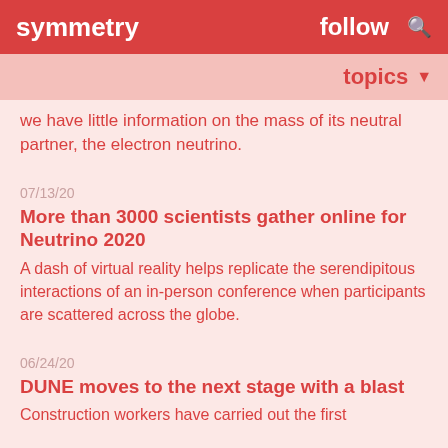symmetry   follow
topics
we have little information on the mass of its neutral partner, the electron neutrino.
07/13/20
More than 3000 scientists gather online for Neutrino 2020
A dash of virtual reality helps replicate the serendipitous interactions of an in-person conference when participants are scattered across the globe.
06/24/20
DUNE moves to the next stage with a blast
Construction workers have carried out the first underground blasting for the deep Baseline Neutrino